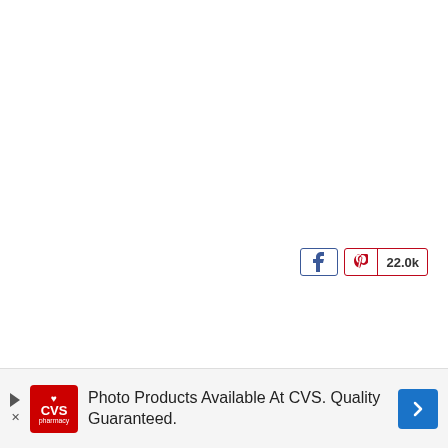[Figure (screenshot): Social sharing buttons: Facebook button (f icon, navy border) and Pinterest button (P icon with count 22.0k, red border)]
[Figure (screenshot): CVS Pharmacy advertisement banner: 'Photo Products Available At CVS. Quality Guaranteed.' with CVS logo on left and blue navigation arrow on right]